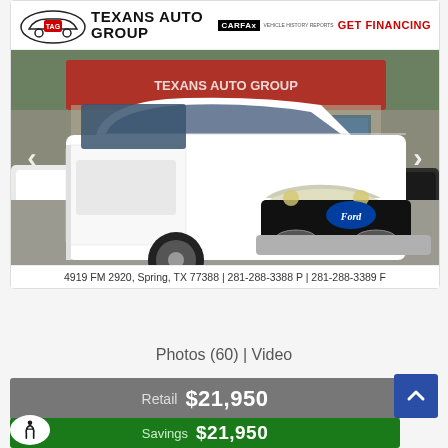[Figure (photo): Texans Auto Group dealer header with logo, CARFAX badge, and GET FINANCING text]
[Figure (photo): White Ford F-150 truck photographed from front-left angle in a dealership parking lot. Navigation arrows on left and right sides. Address: 4919 FM 2920, Spring, TX 77388 | 281-288-3388 P | 281-288-3389 F]
Photos (60) | Video
Retail  $21,950
Savings  $21,950